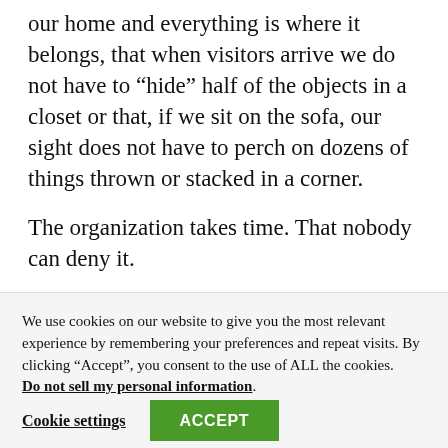our home and everything is where it belongs, that when visitors arrive we do not have to “hide” half of the objects in a closet or that, if we sit on the sofa, our sight does not have to perch on dozens of things thrown or stacked in a corner.
The organization takes time. That nobody can deny it.
However, once we get used to it, we can be more
We use cookies on our website to give you the most relevant experience by remembering your preferences and repeat visits. By clicking “Accept”, you consent to the use of ALL the cookies. Do not sell my personal information.
Cookie settings
ACCEPT